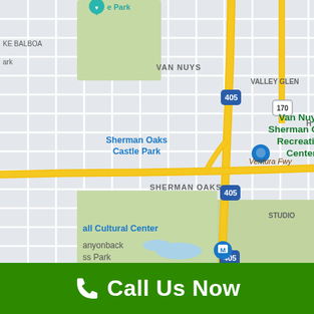[Figure (map): Google Maps view of Van Nuys and Sherman Oaks area in Los Angeles, California. Shows highways 405 and 101 (Ventura Fwy), route 170, Sherman Oaks Castle Park, Van Nuys/Sherman Oaks Recreation Center, Franklin Canyon Park Mountains Recreation, all Cultural Center, canyonback ss Park, Lake Balboa, Valley Glen, and Studio areas.]
Call Us Now